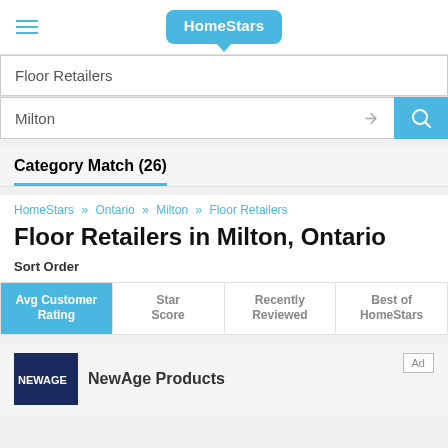HomeStars
Floor Retailers
Milton
Category Match (26)
HomeStars » Ontario » Milton » Floor Retailers
Floor Retailers in Milton, Ontario
Sort Order
| Avg Customer Rating | Star Score | Recently Reviewed | Best of HomeStars |
| --- | --- | --- | --- |
|  |
NewAge Products
Ad